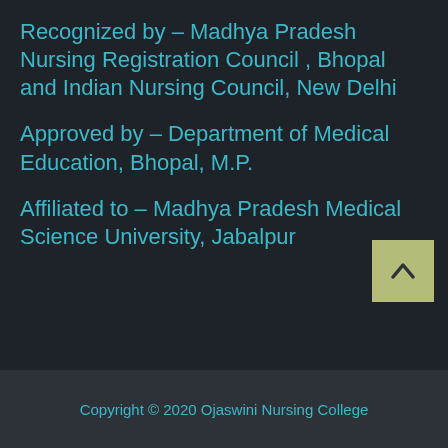Recognized by – Madhya Pradesh Nursing Registration Council , Bhopal and Indian Nursing Council, New Delhi
Approved by – Department of Medical Education, Bhopal, M.P.
Affiliated to – Madhya Pradesh Medical Science University, Jabalpur
Copyright © 2020 Ojaswini Nursing College